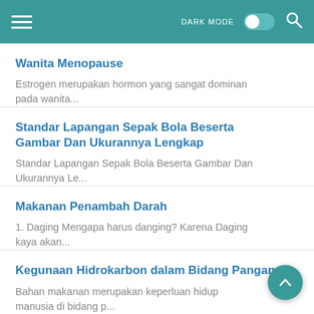DARK MODE [toggle] [search]
Wanita Menopause
Estrogen merupakan hormon yang sangat dominan pada wanita...
Standar Lapangan Sepak Bola Beserta Gambar Dan Ukurannya Lengkap
Standar Lapangan Sepak Bola Beserta Gambar Dan Ukurannya Le...
Makanan Penambah Darah
1. Daging Mengapa harus danging? Karena Daging kaya akan...
Kegunaan Hidrokarbon dalam Bidang Pangan
Bahan makanan merupakan keperluan hidup manusia di bidang p...